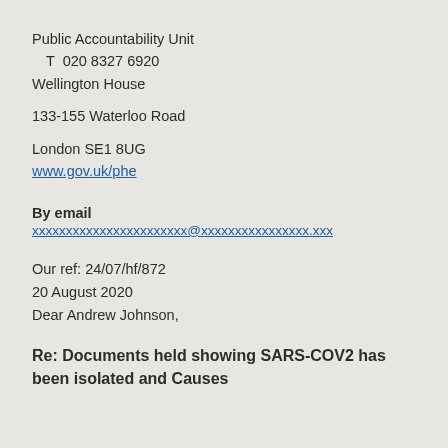Public Accountability Unit
  T  020 8327 6920
Wellington House

133-155 Waterloo Road

London SE1 8UG
www.gov.uk/phe
By email
xxxxxxxxxxxxxxxxxxxxxxx@xxxxxxxxxxxxxxxx.xxx
Our ref: 24/07/hf/872
20 August 2020
Dear Andrew Johnson,
Re: Documents held showing SARS-COV2 has been isolated and Causes